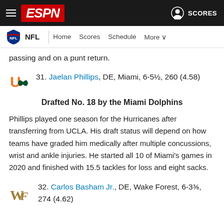ESPN — NFL | Home | Scores | Schedule | More
passing and on a punt return.
31. Jaelan Phillips, DE, Miami, 6-5½, 260 (4.58)
Drafted No. 18 by the Miami Dolphins
Phillips played one season for the Hurricanes after transferring from UCLA. His draft status will depend on how teams have graded him medically after multiple concussions, wrist and ankle injuries. He started all 10 of Miami's games in 2020 and finished with 15.5 tackles for loss and eight sacks.
32. Carlos Basham Jr., DE, Wake Forest, 6-3⅜, 274 (4.62)